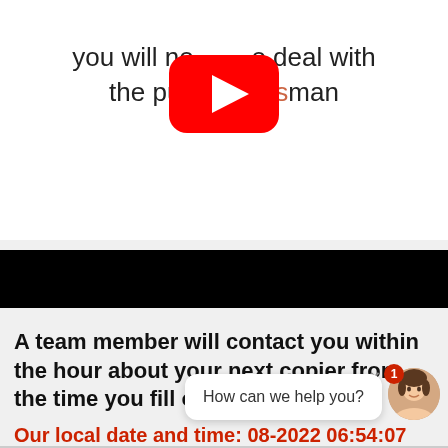you will no[t have t]o deal with the pu[blic sale]sman
[Figure (screenshot): YouTube play button logo overlaid on the text area]
[Figure (other): Black banner/bar across full width]
A team member will contact you within the hour about your next copier from the time you fill out the form!
Our local date and time: 08-2022 06:54:07 AM
[Figure (screenshot): Chat widget with bubble saying 'How can we help you?' and avatar of a woman with red badge showing 1]